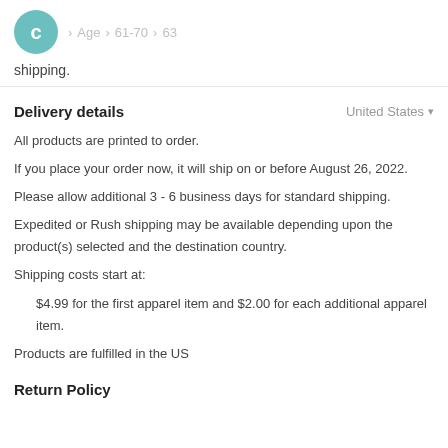C > Age > 61-70 > 63
shipping.
Delivery details
United States
All products are printed to order.
If you place your order now, it will ship on or before August 26, 2022.
Please allow additional 3 - 6 business days for standard shipping.
Expedited or Rush shipping may be available depending upon the product(s) selected and the destination country.
Shipping costs start at:
$4.99 for the first apparel item and $2.00 for each additional apparel item.
Products are fulfilled in the US
Return Policy